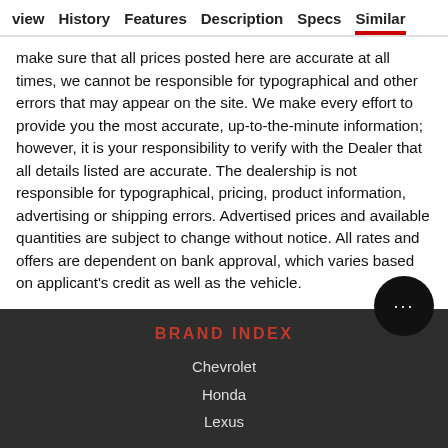view   History   Features   Description   Specs   Similar
make sure that all prices posted here are accurate at all times, we cannot be responsible for typographical and other errors that may appear on the site. We make every effort to provide you the most accurate, up-to-the-minute information; however, it is your responsibility to verify with the Dealer that all details listed are accurate. The dealership is not responsible for typographical, pricing, product information, advertising or shipping errors. Advertised prices and available quantities are subject to change without notice. All rates and offers are dependent on bank approval, which varies based on applicant's credit as well as the vehicle.
BRAND INDEX
Chevrolet
Honda
Lexus